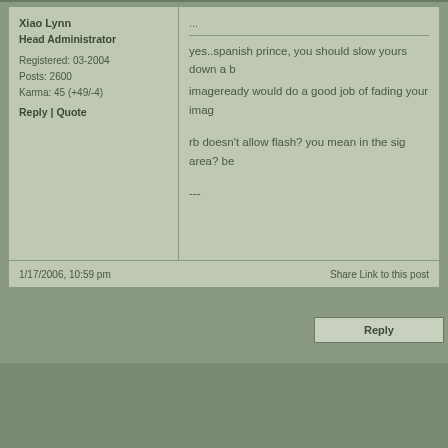Xiao Lynn
Head Administrator
Registered: 03-2004
Posts: 2600
Karma: 45 (+49/-4)
Reply | Quote
...
yes..spanish prince, you should slow yours down a b
imageready would do a good job of fading your imag
rb doesn't allow flash? you mean in the sig area? be
---
1/17/2006, 10:59 pm
Share Link to this post
Reply
Powered by AkBBS 1.1 -   Link to us   -   Blogs   -   Hall of Honor
You are not logged in (login)